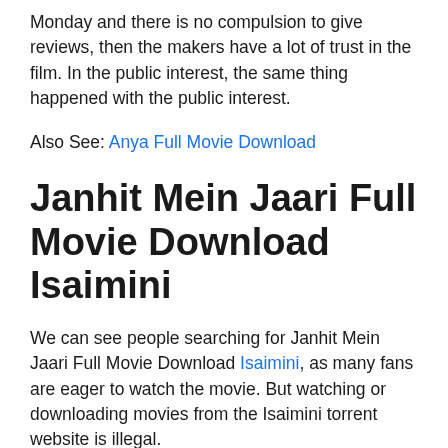Monday and there is no compulsion to give reviews, then the makers have a lot of trust in the film. In the public interest, the same thing happened with the public interest.
Also See: Anya Full Movie Download
Janhit Mein Jaari Full Movie Download Isaimini
We can see people searching for Janhit Mein Jaari Full Movie Download Isaimini, as many fans are eager to watch the movie. But watching or downloading movies from the Isaimini torrent website is illegal.
Janhit Mein Jaari Full